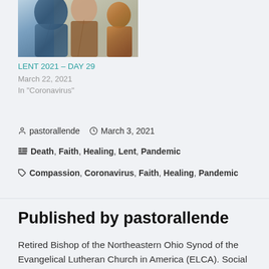[Figure (illustration): Partial religious painting showing figures in robes with blue and brown tones, cropped at top]
LENT 2021 – DAY 29
March 22, 2021
In "Coronavirus"
pastorallende   March 3, 2021
Death, Faith, Healing, Lent, Pandemic
Compassion, Coronavirus, Faith, Healing, Pandemic
Published by pastorallende
Retired Bishop of the Northeastern Ohio Synod of the Evangelical Lutheran Church in America (ELCA). Social